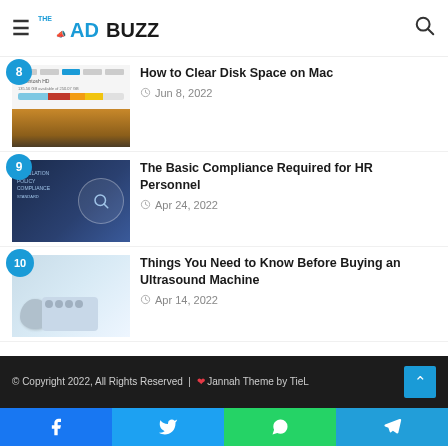THE ADBUZZ
8 - How to Clear Disk Space on Mac - Jun 8, 2022
9 - The Basic Compliance Required for HR Personnel - Apr 24, 2022
10 - Things You Need to Know Before Buying an Ultrasound Machine - Apr 14, 2022
© Copyright 2022, All Rights Reserved | ❤ Jannah Theme by TieL